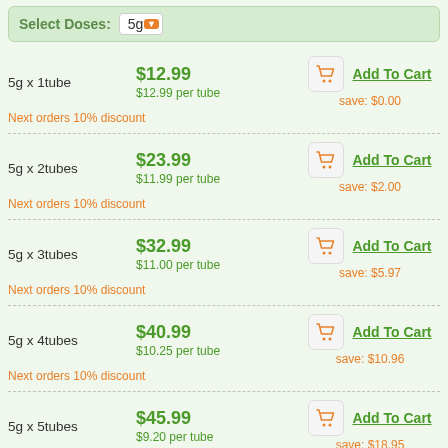Select Doses: 5g
5g x 1tube | $12.99 | $12.99 per tube | Add To Cart | save: $0.00 | Next orders 10% discount
5g x 2tubes | $23.99 | $11.99 per tube | Add To Cart | save: $2.00 | Next orders 10% discount
5g x 3tubes | $32.99 | $11.00 per tube | Add To Cart | save: $5.97 | Next orders 10% discount
5g x 4tubes | $40.99 | $10.25 per tube | Add To Cart | save: $10.96 | Next orders 10% discount
5g x 5tubes | $45.99 | $9.20 per tube | Add To Cart | save: $18.95 | Next orders 10% discount
5g x 6tubes | $48.99 | $8.17 per tube | Add To Cart | save: $28.92 | Next orders 10% discount